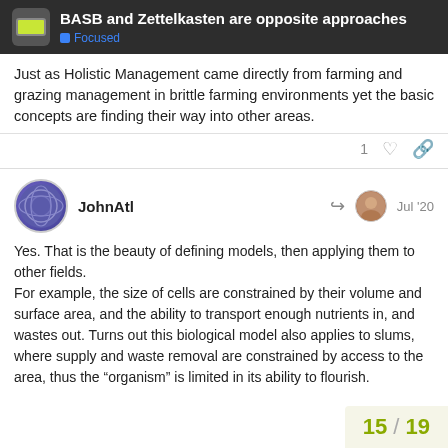BASB and Zettelkasten are opposite approaches — Focused
Just as Holistic Management came directly from farming and grazing management in brittle farming environments yet the basic concepts are finding their way into other areas.
JohnAtl  Jul '20
Yes. That is the beauty of defining models, then applying them to other fields.
For example, the size of cells are constrained by their volume and surface area, and the ability to transport enough nutrients in, and wastes out. Turns out this biological model also applies to slums, where supply and waste removal are constrained by access to the area, thus the “organism” is limited in its ability to flourish.
15 / 19